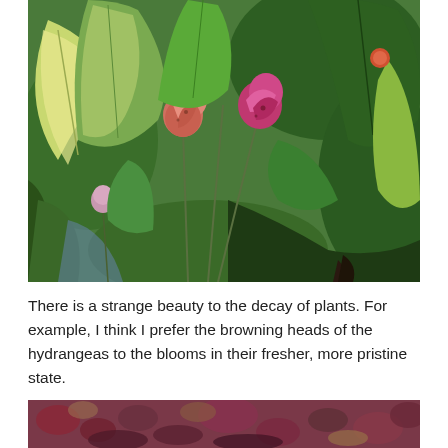[Figure (photo): Close-up photograph of pink and red flower buds on stems surrounded by green and yellow-green variegated leaves. Multiple buds at different stages, some salmon-colored, one bright pink/magenta. Background is dense green foliage.]
There is a strange beauty to the decay of plants. For example, I think I prefer the browning heads of the hydrangeas to the blooms in their fresher, more pristine state.
[Figure (photo): Bottom portion of a photograph showing dried, browning hydrangea flower heads in shades of pink, maroon, and brown.]